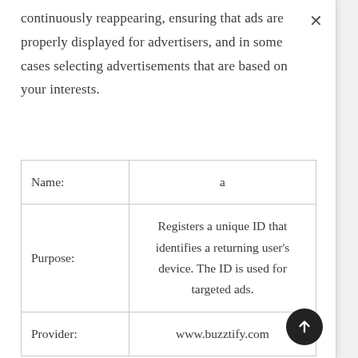continuously reappearing, ensuring that ads are properly displayed for advertisers, and in some cases selecting advertisements that are based on your interests.
| Name: | a |
| Purpose: | Registers a unique ID that identifies a returning user's device. The ID is used for targeted ads. |
| Provider: | www.buzztify.com |